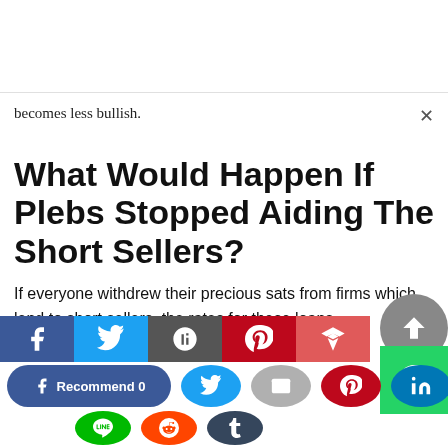becomes less bullish.
What Would Happen If Plebs Stopped Aiding The Short Sellers?
If everyone withdrew their precious sats from firms which lend to short sellers, the rates for these loans
[Figure (infographic): Social media share buttons bar including Facebook Recommend 0, Twitter, Email, Pinterest, LinkedIn, Line, Reddit, Tumblr, and a scroll-to-top arrow button and WhatsApp green button]